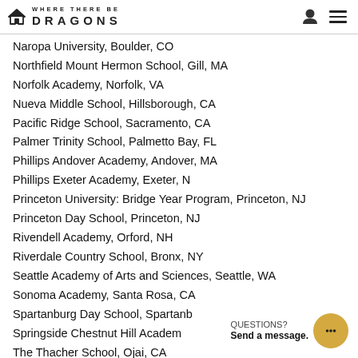WHERE THERE BE DRAGONS
Naropa University, Boulder, CO
Northfield Mount Hermon School, Gill, MA
Norfolk Academy, Norfolk, VA
Nueva Middle School, Hillsborough, CA
Pacific Ridge School, Sacramento, CA
Palmer Trinity School, Palmetto Bay, FL
Phillips Andover Academy, Andover, MA
Phillips Exeter Academy, Exeter, N
Princeton University: Bridge Year Program, Princeton, NJ
Princeton Day School, Princeton, NJ
Rivendell Academy, Orford, NH
Riverdale Country School, Bronx, NY
Seattle Academy of Arts and Sciences, Seattle, WA
Sonoma Academy, Santa Rosa, CA
Spartanburg Day School, Spartanb...
Springside Chestnut Hill Academ...
The Thacher School, Ojai, CA